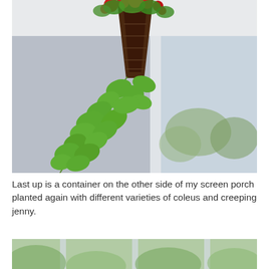[Figure (photo): A hanging basket planter with green cascading leaves (likely sweet potato vine) and red flowers at the top, suspended from a porch ceiling. The background shows a screened porch and trees outside.]
Last up is a container on the other side of my screen porch planted again with different varieties of coleus and creeping jenny.
[Figure (photo): Partial view of a container planting photographed from below, showing blurred green foliage against a light background with vertical window/screen frames visible.]